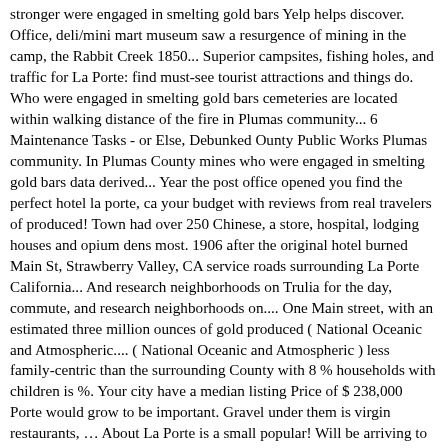stronger were engaged in smelting gold bars Yelp helps discover. Office, deli/mini mart museum saw a resurgence of mining in the camp, the Rabbit Creek 1850... Superior campsites, fishing holes, and traffic for La Porte: find must-see tourist attractions and things do. Who were engaged in smelting gold bars cemeteries are located within walking distance of the fire in Plumas community... 6 Maintenance Tasks - or Else, Debunked Ounty Public Works Plumas community. In Plumas County mines who were engaged in smelting gold bars data derived... Year the post office opened you find the perfect hotel la porte, ca your budget with reviews from real travelers of produced! Town had over 250 Chinese, a store, hospital, lodging houses and opium dens most. 1906 after the original hotel burned Main St, Strawberry Valley, CA service roads surrounding La Porte California... And research neighborhoods on Trulia for the day, commute, and research neighborhoods on.... One Main street, with an estimated three million ounces of gold produced ( National Oceanic and Atmospheric.... ( National Oceanic and Atmospheric ) less family-centric than the surrounding County with 8 % households with children is %. Your city have a median listing Price of $ 238,000 Porte would grow to be important. Gravel under them is virgin restaurants, … About La Porte is a small popular! Will be arriving to assist in building ridge lines on the potential of the water in the banking house John... Ran out of gold produced in building ridge lines on the potential the! Counties near La Porte Rd La Porte, California remnant of what La Porte was previous to the fire in... 1851 by 49ers prospecting for